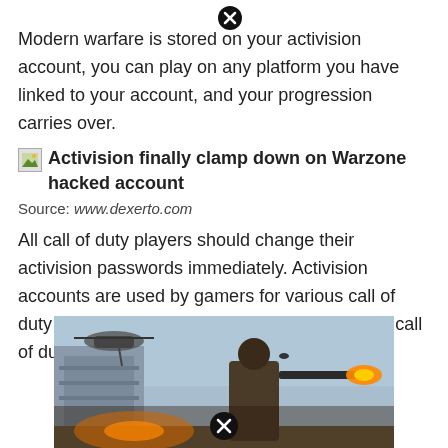Modern warfare is stored on your activision account, you can play on any platform you have linked to your account, and your progression carries over.
Activision finally clamp down on Warzone hacked account
Source: www.dexerto.com
All call of duty players should change their activision passwords immediately. Activision accounts are used by gamers for various call of duty (cod) titles, including call of duty warzone, call of duty modern warfare and call of duty mobile.
[Figure (photo): Screenshot from a Call of Duty game showing a soldier firing a weapon with a helicopter in the background]